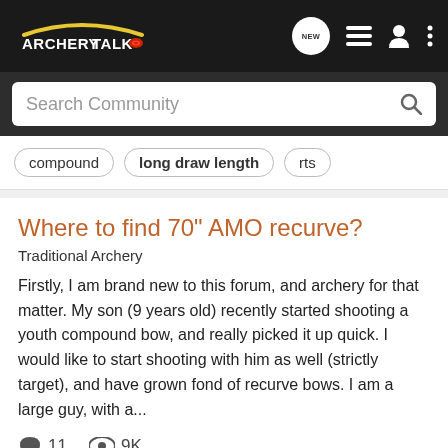ArcheryTalk
Search Community
compound
long draw length
rts
Where to find 70" AMO recurve?
Traditional Archery
Firstly, I am brand new to this forum, and archery for that matter. My son (9 years old) recently started shooting a youth compound bow, and really picked it up quick. I would like to start shooting with him as well (strictly target), and have grown fond of recurve bows. I am a large guy, with a...
11  9K
philconfer · Oct 18, 2012
70"
cartel
long draw length
polaris
samick